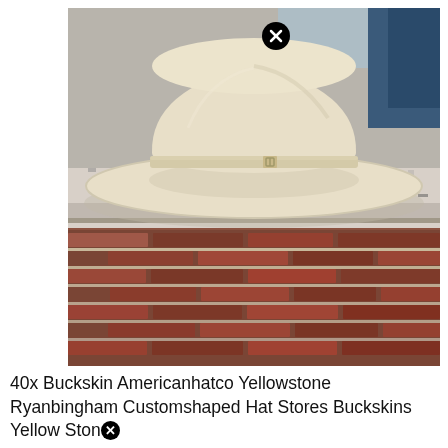[Figure (photo): A cream/buckskin colored western cowboy hat with a leather band and small metal buckle detail, resting on a granite countertop over a red brick wall background. A close button (circled X) icon appears at the top of the image.]
40x Buckskin Americanhatco Yellowstone Ryanbingham Customshaped Hat Stores Buckskins Yellow Ston[x]